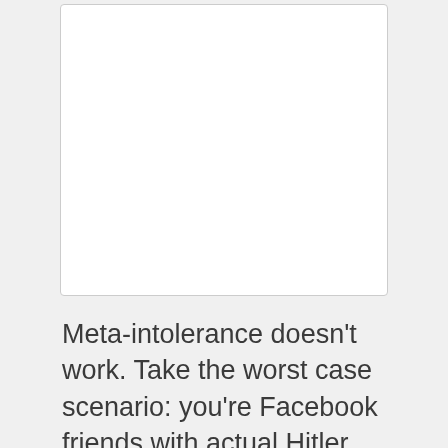[Figure (other): White rectangular image placeholder with light gray border]
Meta-intolerance doesn't work. Take the worst case scenario: you're Facebook friends with actual Hitler. You've got three options: A) Argue with him constantly. B)